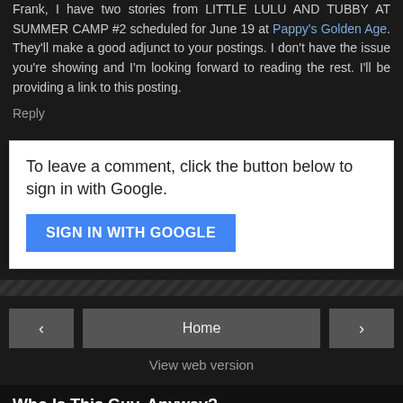Frank, I have two stories from LITTLE LULU AND TUBBY AT SUMMER CAMP #2 scheduled for June 19 at Pappy's Golden Age. They'll make a good adjunct to your postings. I don't have the issue you're showing and I'm looking forward to reading the rest. I'll be providing a link to this posting.
Reply
To leave a comment, click the button below to sign in with Google.
SIGN IN WITH GOOGLE
Home
View web version
Who Is This Guy, Anyway?
[Figure (photo): Profile thumbnail photo showing a close-up of a finger/hand]
Frank M. Young
Seattle, WA, United States